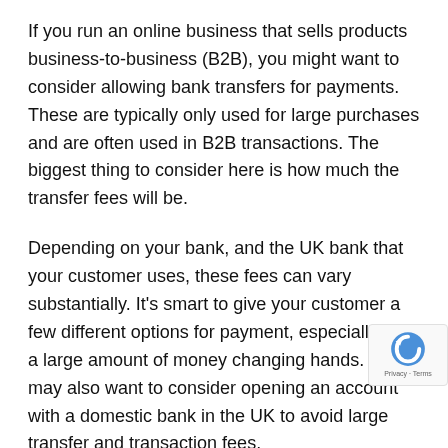If you run an online business that sells products business-to-business (B2B), you might want to consider allowing bank transfers for payments. These are typically only used for large purchases and are often used in B2B transactions. The biggest thing to consider here is how much the transfer fees will be.
Depending on your bank, and the UK bank that your customer uses, these fees can vary substantially. It's smart to give your customer a few different options for payment, especially if it's a large amount of money changing hands. You may also want to consider opening an account with a domestic bank in the UK to avoid large transfer and transaction fees.
If you want to get really savvy and avoid transfer fees, you could consider some of the peer-to-peer platforms similar to PayPal that will allow you to transfer large sums of money.